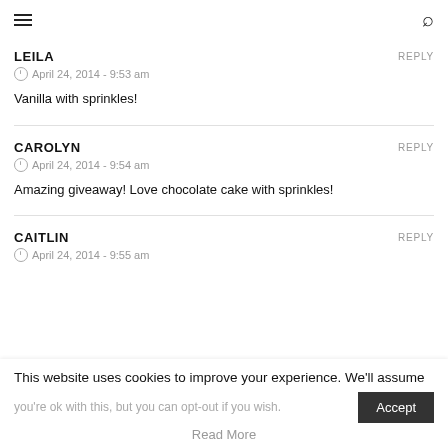≡  🔍
LEILA — REPLY
April 24, 2014 - 9:53 am
Vanilla with sprinkles!
CAROLYN — REPLY
April 24, 2014 - 9:54 am
Amazing giveaway! Love chocolate cake with sprinkles!
CAITLIN — REPLY
April 24, 2014 - 9:55 am
This website uses cookies to improve your experience. We'll assume you're ok with this, but you can opt-out if you wish.
Read More